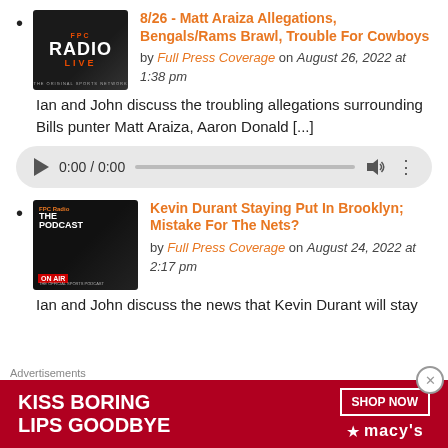8/26 - Matt Araiza Allegations, Bengals/Rams Brawl, Trouble For Cowboys
[Figure (other): Audio player showing 0:00 / 0:00 with play button, progress bar, volume and options icons]
Kevin Durant Staying Put In Brooklyn; Mistake For The Nets?
[Figure (other): Advertisement banner: KISS BORING LIPS GOODBYE with SHOP NOW button and Macy's logo]